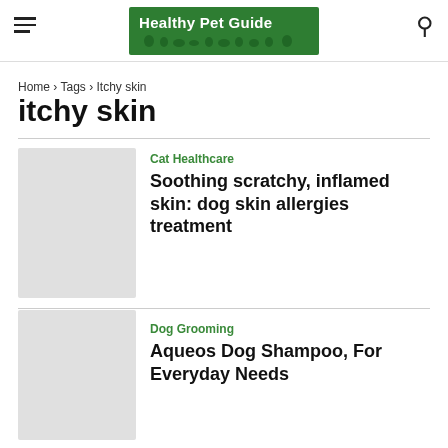Healthy Pet Guide
Home › Tags › Itchy skin
itchy skin
Cat Healthcare
Soothing scratchy, inflamed skin: dog skin allergies treatment
Dog Grooming
Aqueos Dog Shampoo, For Everyday Needs